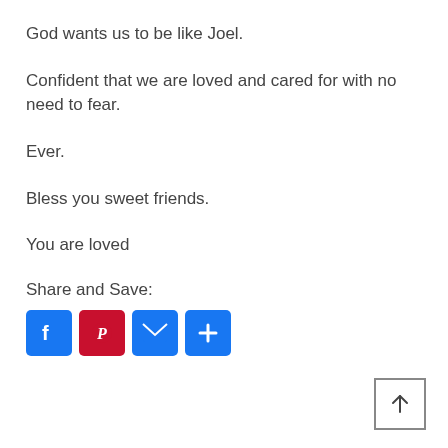God wants us to be like Joel.
Confident that we are loved and cared for with no need to fear.
Ever.
Bless you sweet friends.
You are loved
Share and Save:
[Figure (infographic): Row of four social share buttons: Facebook (blue), Pinterest (red), Email (blue), More/Plus (blue), and a scroll-to-top arrow button in the bottom right corner.]